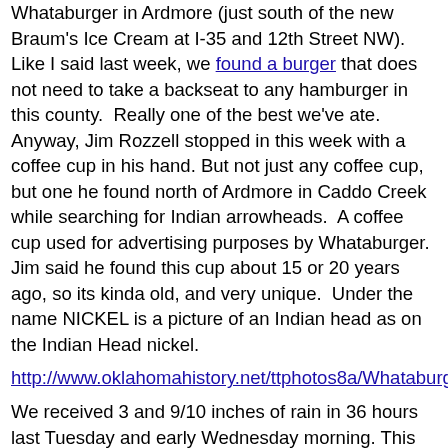Whataburger in Ardmore (just south of the new Braum's Ice Cream at I-35 and 12th Street NW).  Like I said last week, we found a burger that does not need to take a backseat to any hamburger in this county.  Really one of the best we've ate.  Anyway, Jim Rozzell stopped in this week with a coffee cup in his hand. But not just any coffee cup, but one he found north of Ardmore in Caddo Creek while searching for Indian arrowheads.  A coffee cup used for advertising purposes by Whataburger.  Jim said he found this cup about 15 or 20 years ago, so its kinda old, and very unique.  Under the name NICKEL is a picture of an Indian head as on the Indian Head nickel.
http://www.oklahomahistory.net/ttphotos8a/Whataburge
We received 3 and 9/10 inches of rain in 36 hours last Tuesday and early Wednesday morning. This was much needed rain too.  I was talking to an old timer from Milo this week, and